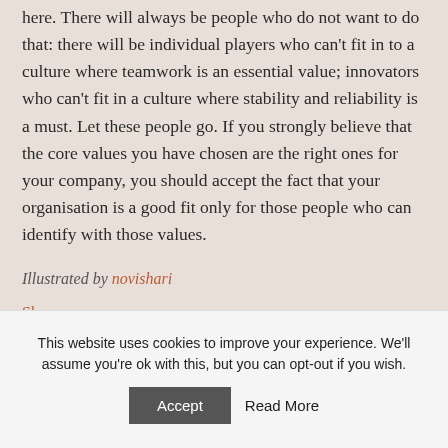here. There will always be people who do not want to do that: there will be individual players who can't fit in to a culture where teamwork is an essential value; innovators who can't fit in a culture where stability and reliability is a must. Let these people go. If you strongly believe that the core values you have chosen are the right ones for your company, you should accept the fact that your organisation is a good fit only for those people who can identify with those values.
Illustrated by novishari
Share
This website uses cookies to improve your experience. We'll assume you're ok with this, but you can opt-out if you wish.
Accept
Read More